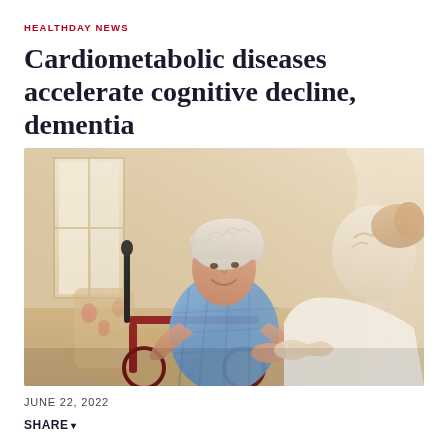HEALTHDAY NEWS
Cardiometabolic diseases accelerate cognitive decline, dementia
[Figure (photo): An elderly woman in a blue plaid shirt sitting in a wheelchair, smiling, with a younger woman (caregiver in white) facing her and holding her hands, in a warmly lit home interior.]
JUNE 22, 2022
SHARE